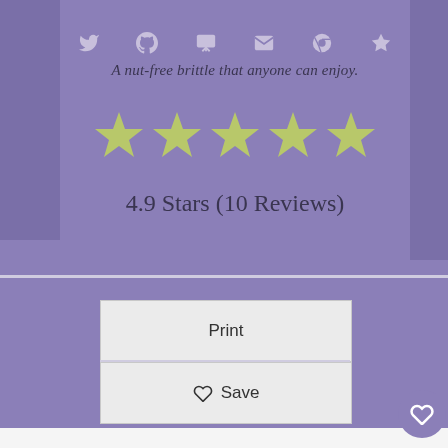A nut-free brittle that anyone can enjoy.
[Figure (other): Five yellow/green star rating icons]
4.9 Stars (10 Reviews)
Print
♡ Save
[Figure (other): Purple circular heart/save button on right side]
[Figure (other): White circular share button with + icon]
WHAT'S NEXT → The Specialty Award...
— Xavier, adopted at 18